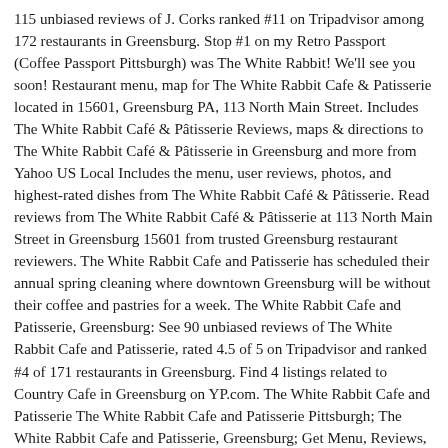115 unbiased reviews of J. Corks ranked #11 on Tripadvisor among 172 restaurants in Greensburg. Stop #1 on my Retro Passport (Coffee Passport Pittsburgh) was The White Rabbit! We'll see you soon! Restaurant menu, map for The White Rabbit Cafe & Patisserie located in 15601, Greensburg PA, 113 North Main Street. Includes The White Rabbit Café & Pâtisserie Reviews, maps & directions to The White Rabbit Café & Pâtisserie in Greensburg and more from Yahoo US Local Includes the menu, user reviews, photos, and highest-rated dishes from The White Rabbit Café & Pâtisserie. Read reviews from The White Rabbit Café & Pâtisserie at 113 North Main Street in Greensburg 15601 from trusted Greensburg restaurant reviewers. The White Rabbit Cafe and Patisserie has scheduled their annual spring cleaning where downtown Greensburg will be without their coffee and pastries for a week. The White Rabbit Cafe and Patisserie, Greensburg: See 90 unbiased reviews of The White Rabbit Cafe and Patisserie, rated 4.5 of 5 on Tripadvisor and ranked #4 of 171 restaurants in Greensburg. Find 4 listings related to Country Cafe in Greensburg on YP.com. The White Rabbit Cafe and Patisserie The White Rabbit Cafe and Patisserie Pittsburgh; The White Rabbit Cafe and Patisserie, Greensburg; Get Menu, Reviews, Contact, Location, Phone Number, Maps and more for The White Rabbit Cafe and Patisserie Restaurant on Zomato The White Rabbit Cafe and Patisserie, Greensburg: See 90 unbiased reviews of The White Rabbit Cafe and Patisserie, rated 4.5 of 5 on